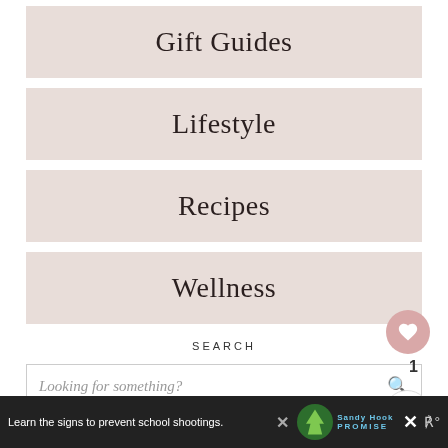Gift Guides
Lifestyle
Recipes
Wellness
SEARCH
Looking for something?
Learn the signs to prevent school shootings.